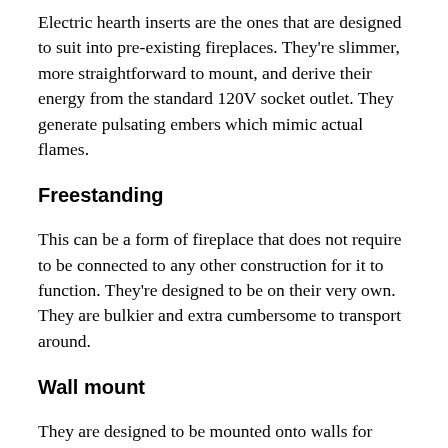Electric hearth inserts are the ones that are designed to suit into pre-existing fireplaces. They're slimmer, more straightforward to mount, and derive their energy from the standard 120V socket outlet. They generate pulsating embers which mimic actual flames.
Freestanding
This can be a form of fireplace that does not require to be connected to any other construction for it to function. They're designed to be on their very own. They are bulkier and extra cumbersome to transport around.
Wall mount
They are designed to be mounted onto walls for them